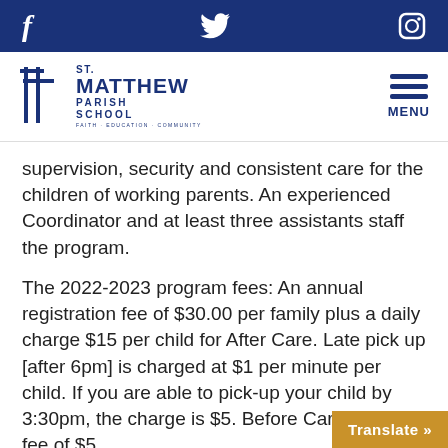[Figure (logo): St. Matthew Parish School logo with cross icon and social media bar (Facebook, Twitter, Instagram) on dark blue background]
supervision, security and consistent care for the children of working parents. An experienced Coordinator and at least three assistants staff the program.
The 2022-2023 program fees: An annual registration fee of $30.00 per family plus a daily charge $15 per child for After Care. Late pick up [after 6pm] is charged at $1 per minute per child. If you are able to pick-up your child by 3:30pm, the charge is $5. Before Care is a flat fee of $5.